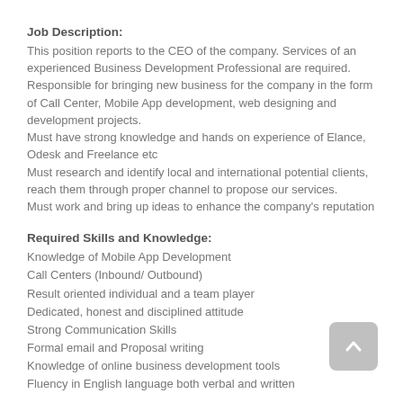Job Description:
This position reports to the CEO of the company. Services of an experienced Business Development Professional are required. Responsible for bringing new business for the company in the form of Call Center, Mobile App development, web designing and development projects.
Must have strong knowledge and hands on experience of Elance, Odesk and Freelance etc
Must research and identify local and international potential clients, reach them through proper channel to propose our services.
Must work and bring up ideas to enhance the company's reputation
Required Skills and Knowledge:
Knowledge of Mobile App Development
Call Centers (Inbound/ Outbound)
Result oriented individual and a team player
Dedicated, honest and disciplined attitude
Strong Communication Skills
Formal email and Proposal writing
Knowledge of online business development tools
Fluency in English language both verbal and written